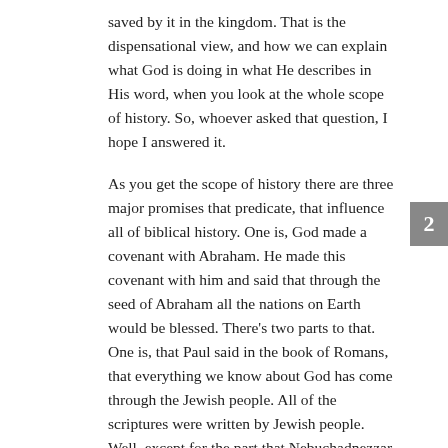saved by it in the kingdom. That is the dispensational view, and how we can explain what God is doing in what He describes in His word, when you look at the whole scope of history. So, whoever asked that question, I hope I answered it.
As you get the scope of history there are three major promises that predicate, that influence all of biblical history. One is, God made a covenant with Abraham. He made this covenant with him and said that through the seed of Abraham all the nations on Earth would be blessed. There's two parts to that. One is, that Paul said in the book of Romans, that everything we know about God has come through the Jewish people. All of the scriptures were written by Jewish people. Well, except for the part that Nebuchadnezzar wrote, but the rest of the scriptures were written by people that were either proselytes to Judaism or actual descendants of Abraham. So, in that sense, because the Bible has brought to us salvation, the understanding of the truth of God that leads to salvation, all of us are blessed. But the ultimate seed, and it's singular, the ultimate seed of
2